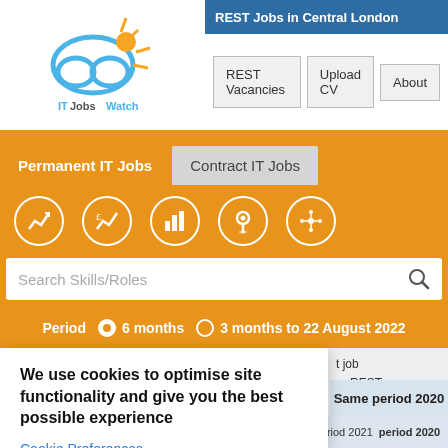REST Jobs in Central London
REST Vacancies | Upload CV | About
Permanent IT Jobs | Contract IT Jobs
[Figure (screenshot): Navigation icons row: trend chart, salary chart, bar chart, location pin, network icon]
Search Skills/Roles
Period 6 months 3 months to 22 August 2022
We use cookies to optimise site functionality and give you the best possible experience
Cookie Preferences
Accept
at job or REST d in ust 2022
Same period 2020
22 Aug 2022  period 2021  period 2020